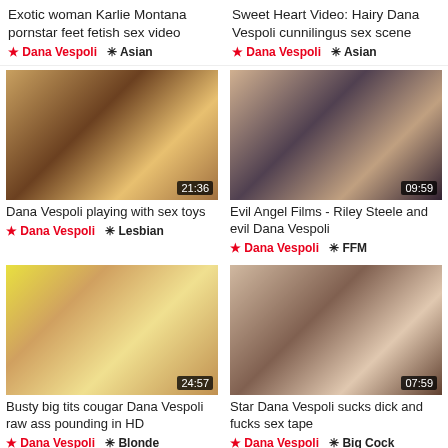Exotic woman Karlie Montana pornstar feet fetish sex video
★ Dana Vespoli  ✳ Asian
Sweet Heart Video: Hairy Dana Vespoli cunnilingus sex scene
★ Dana Vespoli  ✳ Asian
[Figure (photo): Video thumbnail 21:36 - Dana Vespoli playing with sex toys]
Dana Vespoli playing with sex toys
★ Dana Vespoli  ✳ Lesbian
[Figure (photo): Video thumbnail 09:59 - Evil Angel Films - Riley Steele and evil Dana Vespoli]
Evil Angel Films - Riley Steele and evil Dana Vespoli
★ Dana Vespoli  ✳ FFM
[Figure (photo): Video thumbnail 24:57 - Busty big tits cougar Dana Vespoli raw ass pounding in HD]
Busty big tits cougar Dana Vespoli raw ass pounding in HD
★ Dana Vespoli  ✳ Blonde
[Figure (photo): Video thumbnail 07:59 - Star Dana Vespoli sucks dick and fucks sex tape]
Star Dana Vespoli sucks dick and fucks sex tape
★ Dana Vespoli  ✳ Big Cock